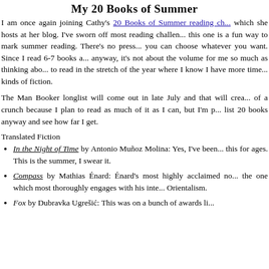My 20 Books of Summer
I am once again joining Cathy's 20 Books of Summer reading challenge which she hosts at her blog. I've sworn off most reading challenges but this one is a fun way to mark summer reading. There's no pressure and you can choose whatever you want. Since I read 6-7 books a month anyway, it's not about the volume for me so much as thinking about what to read in the stretch of the year where I know I have more time for certain kinds of fiction.
The Man Booker longlist will come out in late July and that will create a bit of a crunch because I plan to read as much of it as I can, but I'm going to list 20 books anyway and see how far I get.
Translated Fiction
In the Night of Time by Antonio Muñoz Molina: Yes, I've been meaning to read this for ages. This is the summer, I swear it.
Compass by Mathias Énard: Énard's most highly acclaimed novel and the one which most thoroughly engages with his interest in Orientalism.
Fox by Dubravka Ugrešić: This was on a bunch of awards lists.